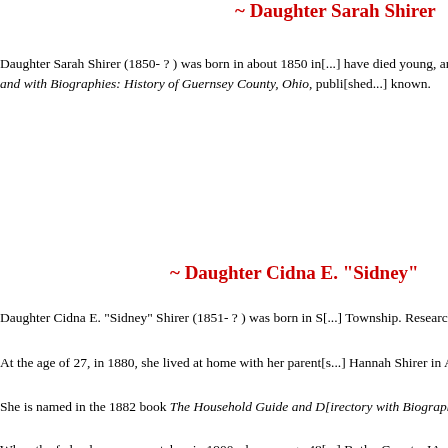~ Daughter Sarah Shirer
Daughter Sarah Shirer (1850- ? ) was born in about 1850 in [location]. She may have died young, and is not mentioned in the book The Household Guide and [Directory?] with Biographies: History of Guernsey County, Ohio, published [year]. [Further details] known.
~ Daughter Cidna E. "Sidney"
Daughter Cidna E. "Sidney" Shirer (1851- ? ) was born in [S...] Township. Research suggests that she never married.
At the age of 27, in 1880, she lived at home with her parents [and/or siblings], Hannah Shirer in Adamsville.
She is named in the 1882 book The Household Guide and D[irectory with Biographies:] History of Guernsey County, Ohio.
When the federal census was taken in 1900, she was age 48 [and living in] Butler County, IA with her married sister Hannah Leydig. A[nd she earned her] income as a seamstress. Her paper trail ends here for now.
Copyright © 2000, 2006, 2011, 2015-2017, 2020-20[xx]
Minerd.com is grateful for records compiled by Corinna (Leydig[...]), Mary Louise (Priddy) Shirer, Gilbert R. Gaumer, Paul K. Gaume[r, ...] Genealogy Project, Somerset (PA) Historical Center and Nationa[l ...] this and the Daniel Gaumer Sr. family biographies.